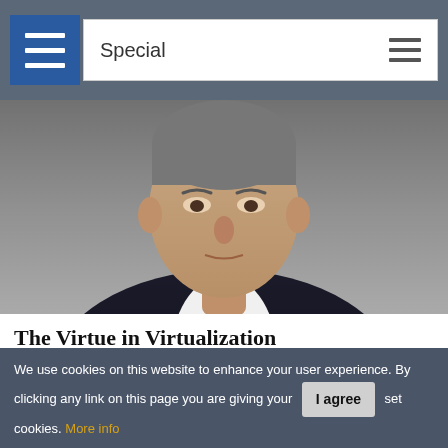Special
[Figure (photo): Headshot of a middle-aged man in a dark suit, white shirt and navy tie, against grey background — top portion of face cropped]
The Virtue in Virtualization
Eric Hutchinson, CEO, Spirent Communications
[Figure (photo): Partial headshot of a woman with brown hair, cropped to show top of head only]
We use cookies on this website to enhance your user experience. By clicking any link on this page you are giving your consent for us to set cookies. More info